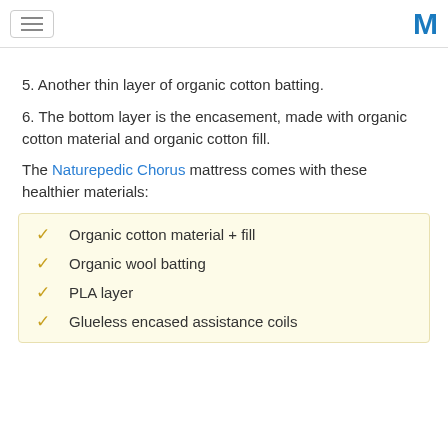5. Another thin layer of organic cotton batting.
6. The bottom layer is the encasement, made with organic cotton material and organic cotton fill.
The Naturepedic Chorus mattress comes with these healthier materials:
Organic cotton material + fill
Organic wool batting
PLA layer
Glueless encased assistance coils